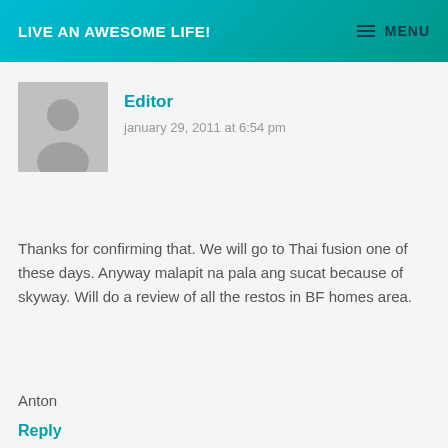LIVE AN AWESOME LIFE!  ≡ MENU
Editor
january 29, 2011 at 6:54 pm
Thanks for confirming that. We will go to Thai fusion one of these days. Anyway malapit na pala ang sucat because of skyway. Will do a review of all the restos in BF homes area.
Anton
Reply
Edit